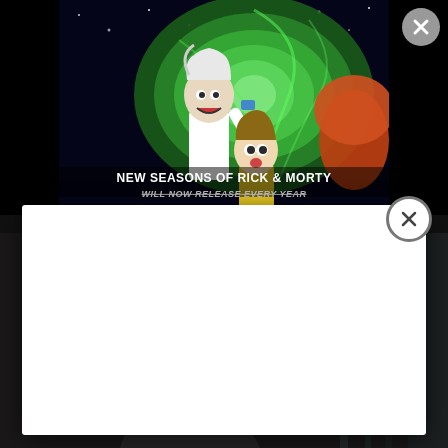[Figure (screenshot): Rick and Morty promotional image showing animated characters in front of a green portal with text 'NEW SEASONS OF RICK & MORTY WILL NOW RELEASE EVERY YEAR' with a close (X) button in top right corner. A white modal/popup overlay is visible in the middle of the screen. Behind the modal is a dark photo of a person sitting contemplatively.]